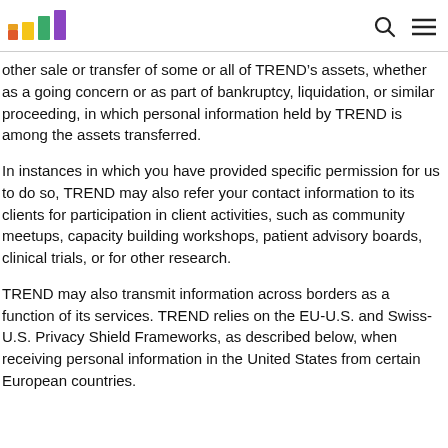TREND logo, search icon, menu icon
other sale or transfer of some or all of TREND’s assets, whether as a going concern or as part of bankruptcy, liquidation, or similar proceeding, in which personal information held by TREND is among the assets transferred.
In instances in which you have provided specific permission for us to do so, TREND may also refer your contact information to its clients for participation in client activities, such as community meetups, capacity building workshops, patient advisory boards, clinical trials, or for other research.
TREND may also transmit information across borders as a function of its services. TREND relies on the EU-U.S. and Swiss-U.S. Privacy Shield Frameworks, as described below, when receiving personal information in the United States from certain European countries.